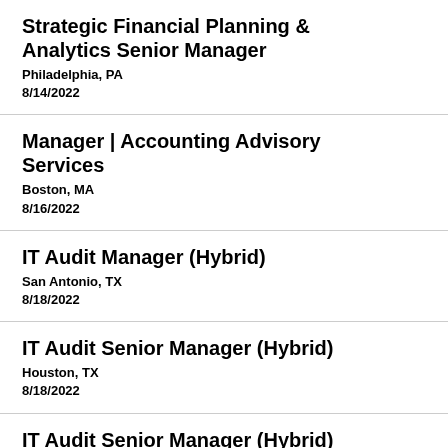Strategic Financial Planning & Analytics Senior Manager
Philadelphia, PA
8/14/2022
Manager | Accounting Advisory Services
Boston, MA
8/16/2022
IT Audit Manager (Hybrid)
San Antonio, TX
8/18/2022
IT Audit Senior Manager (Hybrid)
Houston, TX
8/18/2022
IT Audit Senior Manager (Hybrid)
San Antonio, TX